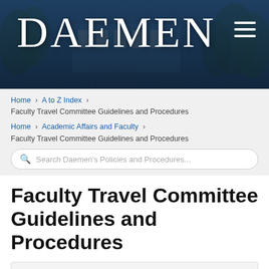[Figure (photo): Daemen University campus photo banner with building and trees, dark blue tinted overlay. DAEMEN logo text in large serif font on left, hamburger menu icon on right.]
Home > A to Z Index > Faculty Travel Committee Guidelines and Procedures
Home > Academic Affairs and Faculty > Faculty Travel Committee Guidelines and Procedures
Search Daemen's Policies and Procedures...
Faculty Travel Committee Guidelines and Procedures
Contents
Purpose: